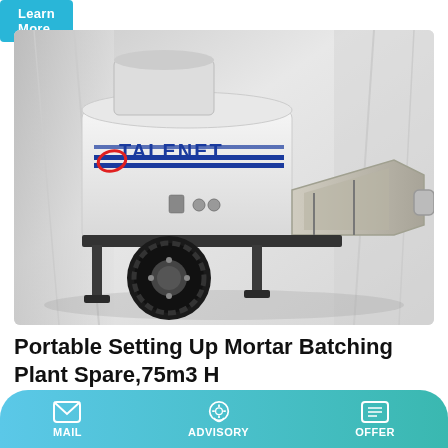Learn More
[Figure (photo): Portable mortar batching plant / concrete pump on a trailer chassis with TALENET branding, white body with blue stripes, large rubber tire and support legs, extended hopper on the right side]
Portable Setting Up Mortar Batching Plant Spare,75m3 H
concrete mixers goscor power products
MAIL   ADVISORY   OFFER